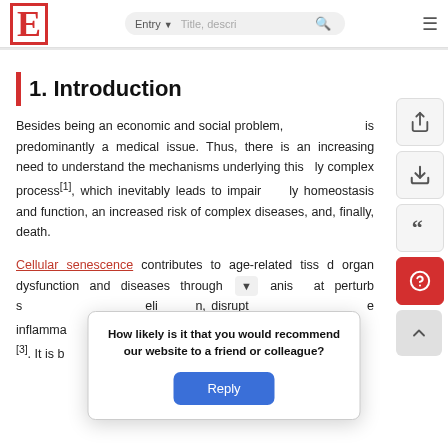E  Entry ▾  [Title, descri...]  🔍  ≡
1. Introduction
Besides being an economic and social problem, [aging] is predominantly a medical issue. Thus, there is an increasing need to understand the mechanisms underlying this highly complex process[1], which inevitably leads to impairment of homeostasis and function, an increased risk of complex diseases, and, finally, death.
Cellular senescence contributes to age-related tissue and organ dysfunction and diseases through [▾] mechanisms that perturb signaling, elicit inflammation, disrupt tissue integrity, inflamma[tory responses] [g cells [2]] [3]. It is b[elieved that] [nt cells in]